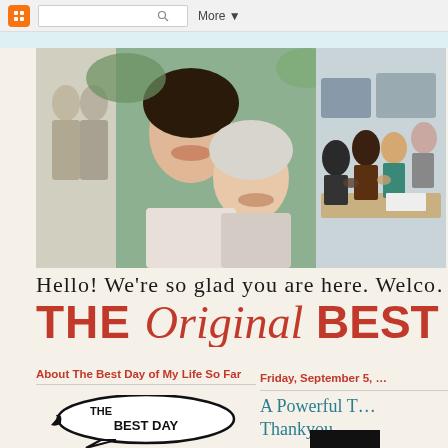Blogger navbar with search and More menu
[Figure (photo): Header photo collage: left side shows an older black-and-white photo of a woman, center shows two Asian women smiling together, right side shows a group of people at a meeting table clapping]
Hello! We're so glad you are here. Welco…
THE Original BEST DA…
About The Best Day of My Life So Far
Friday, September 5, …
A Powerful T… Thankyou
[Figure (illustration): Hand-drawn illustration of a speech bubble with text 'THE BEST DAY' inside, with a small bird silhouette]